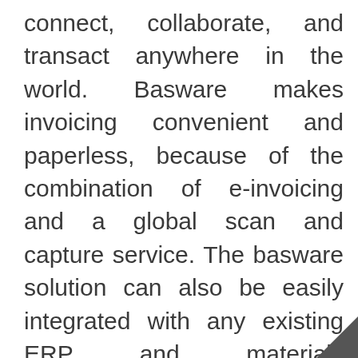connect, collaborate, and transact anywhere in the world. Basware makes invoicing convenient and paperless, because of the combination of e-invoicing and a global scan and capture service. The basware solution can also be easily integrated with any existing ERP and materials management application, helping businesses adapt to meet the changing needs.